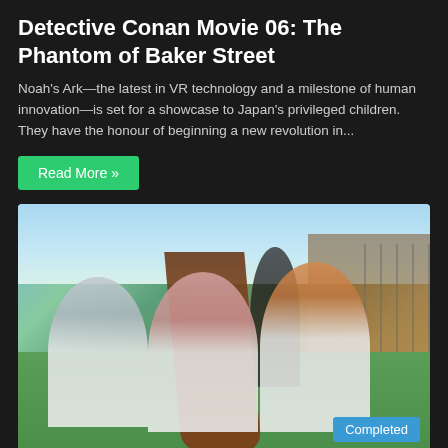Detective Conan Movie 06: The Phantom of Baker Street
Noah's Ark—the latest in VR technology and a milestone of human innovation—is set for a showcase to Japan's privileged children. They have the honour of beginning a new revolution in...
Read More »
[Figure (illustration): Anime illustration showing multiple characters in school uniforms outdoors. A girl with long brown hair in the center foreground, a boy with gray hair on the left, an orange-haired boy on the right, and two characters in the background. A 'Completed' badge is shown in the bottom right corner.]
Iam Tsukasa  IamZero  July 11, 2022  5  6,026